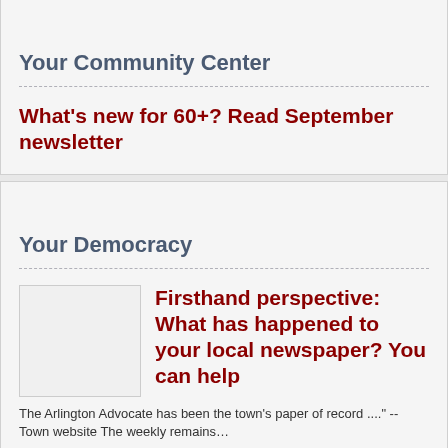Your Community Center
What's new for 60+? Read September newsletter
Your Democracy
[Figure (photo): Thumbnail image placeholder]
Firsthand perspective: What has happened to your local newspaper? You can help
The Arlington Advocate has been the town's paper of record ...." -- Town website The weekly remains…